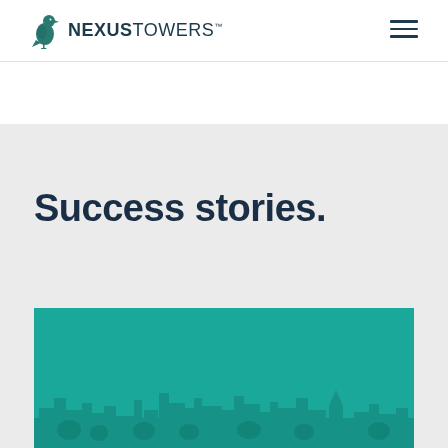NEXUSTOWERS™
Success stories.
[Figure (photo): Teal-tinted cityscape/skyline photograph with buildings silhouetted against a teal background, partially visible at bottom of page]